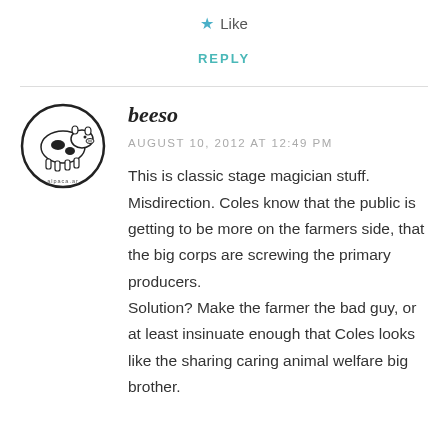★ Like
REPLY
[Figure (illustration): Circular avatar logo with a cow and farm scene illustration, text around the border reading 'alpaca.ar']
beeso
AUGUST 10, 2012 AT 12:49 PM
This is classic stage magician stuff. Misdirection. Coles know that the public is getting to be more on the farmers side, that the big corps are screwing the primary producers. Solution? Make the farmer the bad guy, or at least insinuate enough that Coles looks like the sharing caring animal welfare big brother.